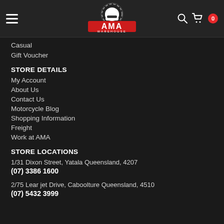AMA Warehouse - navigation header with hamburger menu, logo, search and cart icons
Casual
Gift Voucher
STORE DETAILS
My Account
About Us
Contact Us
Motorcycle Blog
Shopping Information
Freight
Work at AMA
STORE LOCATIONS
1/31 Dixon Street, Yatala Queensland, 4207
(07) 3386 1600
2/75 Lear jet Drive, Caboolture Queensland, 4510
(07) 5432 3999